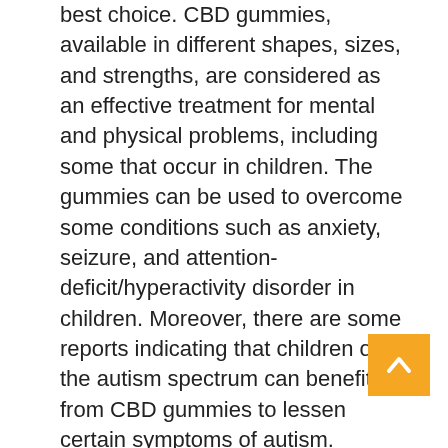best choice. CBD gummies, available in different shapes, sizes, and strengths, are considered as an effective treatment for mental and physical problems, including some that occur in children. The gummies can be used to overcome some conditions such as anxiety, seizure, and attention-deficit/hyperactivity disorder in children. Moreover, there are some reports indicating that children on the autism spectrum can benefit from CBD gummies to lessen certain symptoms of autism.
The important point is to provide our children with the best CBD gummies that are free of THC, gluten, and any contaminants, containing 10 mg of CBD per gummy (best dosage for kids). The best of the best could be those lab-tested CBD gummies, free of artificial sweeteners, flavors, and...